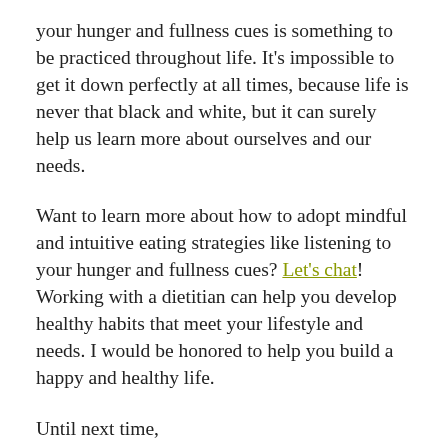your hunger and fullness cues is something to be practiced throughout life. It's impossible to get it down perfectly at all times, because life is never that black and white, but it can surely help us learn more about ourselves and our needs.
Want to learn more about how to adopt mindful and intuitive eating strategies like listening to your hunger and fullness cues? Let's chat! Working with a dietitian can help you develop healthy habits that meet your lifestyle and needs. I would be honored to help you build a happy and healthy life.
Until next time,